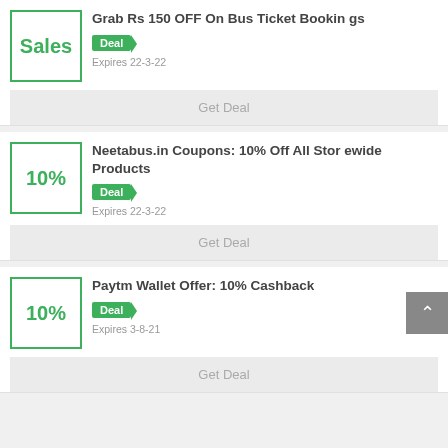Sales
Grab Rs 150 OFF On Bus Ticket Bookings
Deal
Expires 22-3-22
Get Deal
10%
Neetabus.in Coupons: 10% Off All Storewide Products
Deal
Expires 22-3-22
Get Deal
10%
Paytm Wallet Offer: 10% Cashback
Deal
Expires 3-8-21
Get Deal